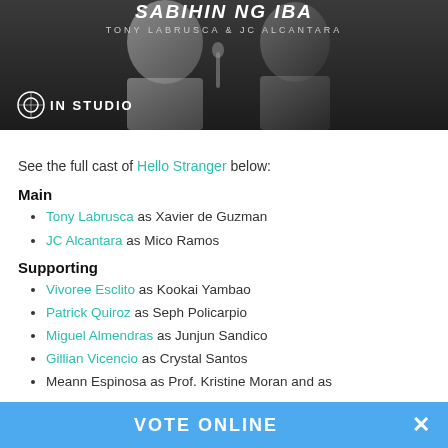[Figure (photo): Photo banner showing two men in a studio setting with text 'SABIHIN NG IBA' and 'TONY LABRUSCA & JC ALCANTARA' and 'IN STUDIO' logo overlay]
See the full cast of Hello Stranger below:
Main
Tony Labrusca as Xavier de Guzman
JC Alcantara as Mico Ramos
Supporting
Vivoree Esclito as Kookai Yambao
Patrick Quiroz as Seph Policarpio
Miguel Almendras as Junjun Sandico
Gillian Vicencio as Crystal Santos
Meann Espinosa as Prof. Kristine Moran and as
VOTE ONLINE